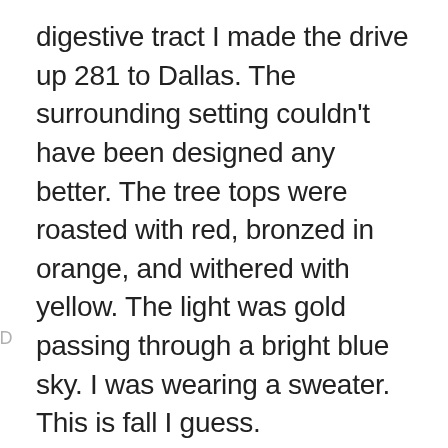digestive tract I made the drive up 281 to Dallas. The surrounding setting couldn't have been designed any better. The tree tops were roasted with red, bronzed in orange, and withered with yellow. The light was gold passing through a bright blue sky. I was wearing a sweater. This is fall I guess.
AD